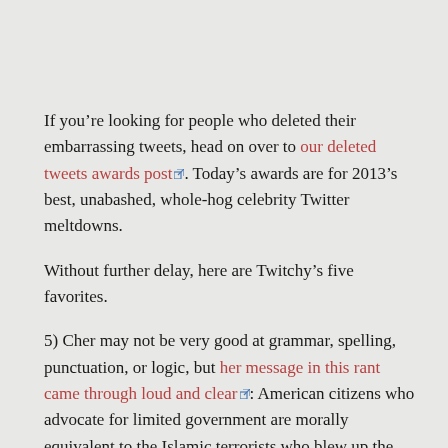If you're looking for people who deleted their embarrassing tweets, head on over to our deleted tweets awards post. Today's awards are for 2013's best, unabashed, whole-hog celebrity Twitter meltdowns.
Without further delay, here are Twitchy's five favorites.
5) Cher may not be very good at grammar, spelling, punctuation, or logic, but her message in this rant came through loud and clear: American citizens who advocate for limited government are morally equivalent to the Islamic terrorists who blew up the World Trade Center buildings.